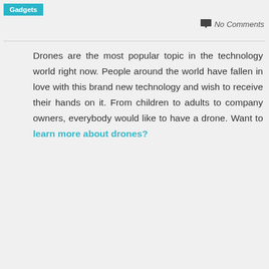Gadgets
No Comments
Drones are the most popular topic in the technology world right now. People around the world have fallen in love with this brand new technology and wish to receive their hands on it. From children to adults to company owners, everybody would like to have a drone. Want to learn more about drones?
[Figure (infographic): Social media sharing buttons: Facebook (blue circle with f), Google+ (red circle with g+), Twitter (cyan circle with bird icon), Add/Share (dark circle with + icon)]